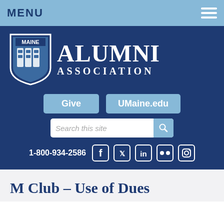MENU
[Figure (logo): Maine Alumni Association logo with shield and text ALUMNI ASSOCIATION]
Give   UMaine.edu
Search this site
1-800-934-2586
[Figure (other): Social media icons: Facebook, Twitter, LinkedIn, Flickr, Instagram]
M Club – Use of Dues